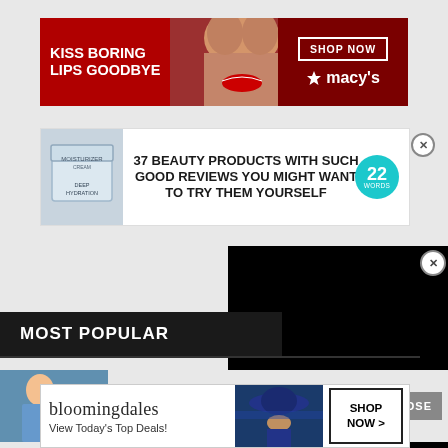[Figure (photo): Macy's advertisement banner: red background, woman with red lipstick, text 'KISS BORING LIPS GOODBYE', 'SHOP NOW' button, Macy's logo with star]
[Figure (photo): BuzzFeed/22Words article ad: cream jar product image, text '37 BEAUTY PRODUCTS WITH SUCH GOOD REVIEWS YOU MIGHT WANT TO TRY THEM YOURSELF', teal badge with '22 WORDS']
[Figure (screenshot): Black video overlay panel]
MOST POPULAR
[Figure (photo): Article thumbnail with person in blue top]
Can You Have 4 Kidneys
[Figure (photo): Bloomingdale's advertisement: logo, 'View Today's Top Deals!', model with blue hat, SHOP NOW button]